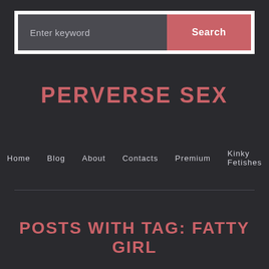[Figure (screenshot): Search bar with text input field showing 'Enter keyword' placeholder and a red 'Search' button]
PERVERSE SEX
Home   Blog   About   Contacts   Premium   Kinky Fetishes
POSTS WITH TAG: FATTY GIRL